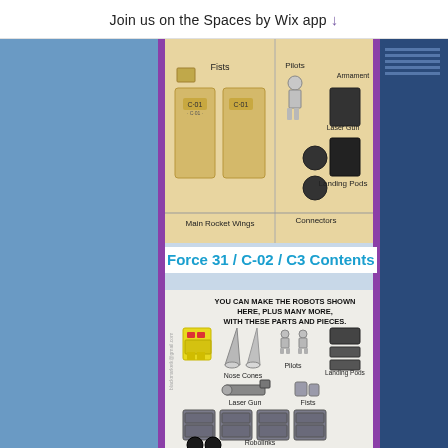Join us on the Spaces by Wix app ↓
[Figure (photo): Product parts layout showing Fists, Main Rocket Wings (C-01 labeled), Pilots, Connectors, Laser Gun, Armament, and Landing Pods on a light tan/beige background]
Force 31 / C-02 / C3 Contents
[Figure (photo): Parts layout showing robot components: YOU CAN MAKE THE ROBOTS SHOWN HERE, PLUS MANY MORE, WITH THESE PARTS AND PIECES. Parts include a yellow robot body, Nose Cones (silver), Pilots (small robot figures), Landing Pods (dark blocks), Laser Gun, Fists, Robolinks (4 gray robot bodies), and Connectors at bottom. Watermark: blackmarketk@gmail.com]